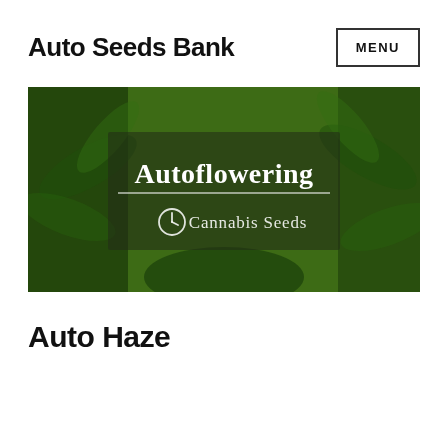Auto Seeds Bank
[Figure (illustration): Banner image with cannabis plant foliage background and overlaid text reading 'Autoflowering' with a clock icon and 'Cannabis Seeds' subtitle]
Auto Haze